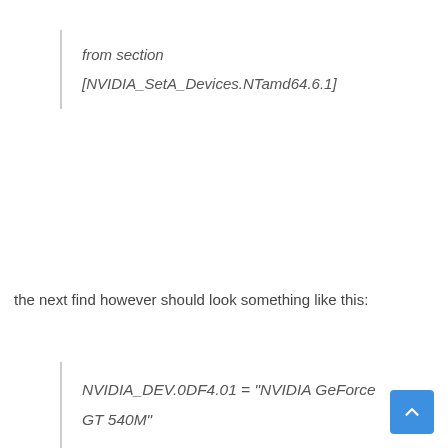from section
[NVIDIA_SetA_Devices.NTamd64.6.1]
the next find however should look something like this:
NVIDIA_DEV.0DF4.01 = "NVIDIA GeForce GT 540M"